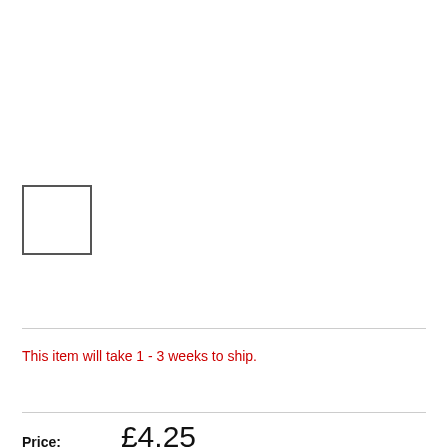[Figure (other): Empty square placeholder image box with grey border]
This item will take 1 - 3 weeks to ship.
Price: £4.25